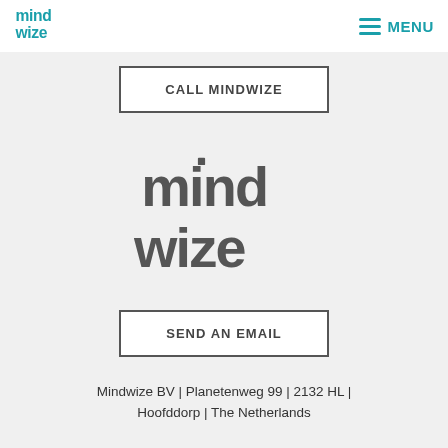[Figure (logo): Mindwize logo in header — teal colored text 'mind wize']
MENU
CALL MINDWIZE
[Figure (logo): Mindwize logo centered in page body — dark gray colored text 'mind wize']
SEND AN EMAIL
Mindwize BV | Planetenweg 99 | 2132 HL | Hoofddorp | The Netherlands